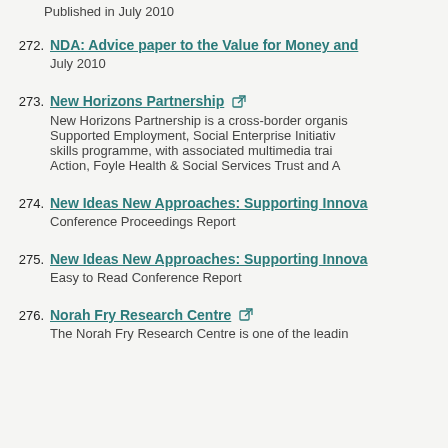Published in July 2010
272. NDA: Advice paper to the Value for Money and
July 2010
273. New Horizons Partnership
New Horizons Partnership is a cross-border organis... Supported Employment, Social Enterprise Initiativ... skills programme, with associated multimedia trai... Action, Foyle Health & Social Services Trust and A...
274. New Ideas New Approaches: Supporting Innova...
Conference Proceedings Report
275. New Ideas New Approaches: Supporting Innova...
Easy to Read Conference Report
276. Norah Fry Research Centre
The Norah Fry Research Centre is one of the leadin...